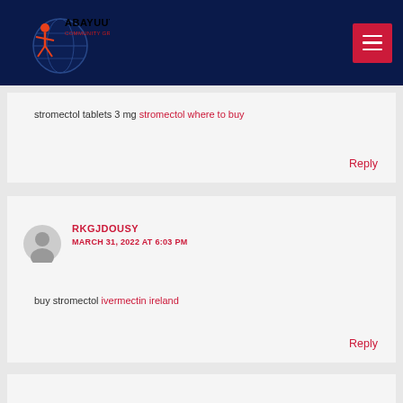ABAYUUTI COMMUNITY GROUP
stromectol tablets 3 mg stromectol where to buy
Reply
RKGJDOUSY
MARCH 31, 2022 AT 6:03 PM
buy stromectol ivermectin ireland
Reply